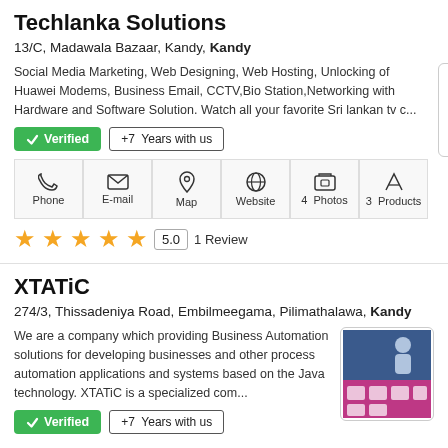Techlanka Solutions
13/C, Madawala Bazaar, Kandy, Kandy
Social Media Marketing, Web Designing, Web Hosting, Unlocking of Huawei Modems, Business Email, CCTV,Bio Station,Networking with Hardware and Software Solution. Watch all your favorite Sri lankan tv c...
[Figure (photo): Huawei Unlock Code By IMEI product image]
Verified  +7  Years with us
Phone  E-mail  Map  Website  4 Photos  3 Products
5.0  1 Review
XTATiC
274/3, Thissadeniya Road, Embilmeegama, Pilimathalawa, Kandy
We are a company which providing Business Automation solutions for developing businesses and other process automation applications and systems based on the Java technology. XTATiC is a specialized com...
[Figure (photo): XTATiC company product/service image]
Verified  +7  Years with us